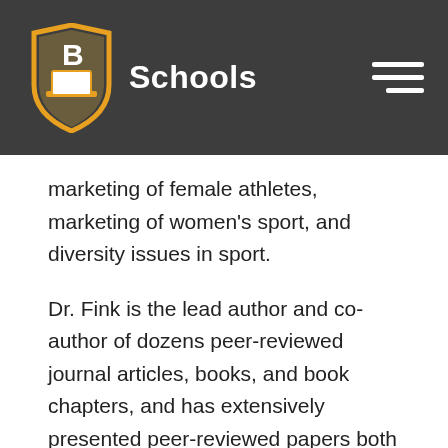B Schools
marketing of female athletes, marketing of women's sport, and diversity issues in sport.
Dr. Fink is the lead author and co-author of dozens peer-reviewed journal articles, books, and book chapters, and has extensively presented peer-reviewed papers both domestically and abroad. Dr. Fink is also an awarded professor, earning the Distinguished Lecture Award from the Tucker Center for Research on Girls and Women in Sport at the University of Minnesota in 2012 and the Ohio State University Distinguished Teaching Award